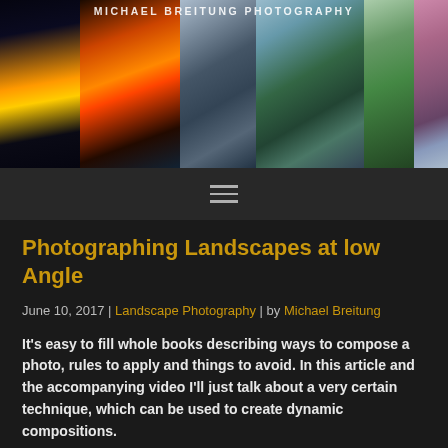[Figure (photo): Photography website header banner showing multiple landscape photos: city night, sunset with lamp post, castle with waves, mountain valley, waterfall, rocky sea coast. Text overlay reads MICHAEL BREITUNG PHOTOGRAPHY]
[Figure (illustration): Dark navigation bar with hamburger menu icon (three horizontal lines)]
Photographing Landscapes at low Angle
June 10, 2017 | Landscape Photography | by Michael Breitung
It's easy to fill whole books describing ways to compose a photo, rules to apply and things to avoid. In this article and the accompanying video I'll just talk about a very certain technique, which can be used to create dynamic compositions.
The technique is very simple and works especially when using a wide angle lens. By moving the camera closer to th